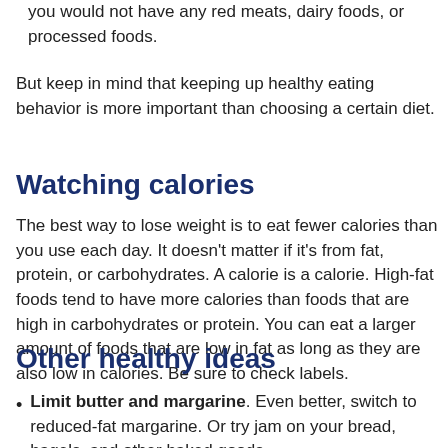you would not have any red meats, dairy foods, or processed foods.
But keep in mind that keeping up healthy eating behavior is more important than choosing a certain diet.
Watching calories
The best way to lose weight is to eat fewer calories than you use each day. It doesn't matter if it's from fat, protein, or carbohydrates. A calorie is a calorie. High-fat foods tend to have more calories than foods that are high in carbohydrates or protein. You can eat a larger amount of foods that are low in fat as long as they are also low in calories. Be sure to check labels.
Other healthy ideas
Limit butter and margarine. Even better, switch to reduced-fat margarine. Or try jam on your bread, bagels, and other baked goods.